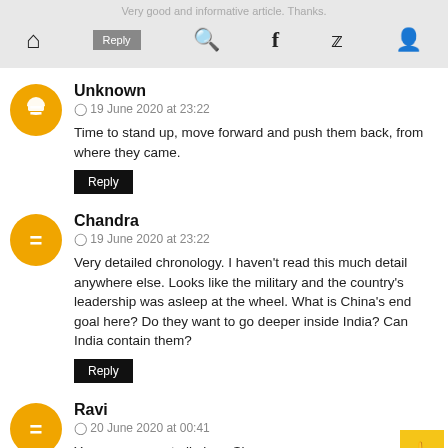Very good and informative article. Thanks.
Unknown
19 June 2020 at 23:22
Time to stand up, move forward and push them back, from where they came.
Chandra
19 June 2020 at 23:22
Very detailed chronology. I haven't read this much detail anywhere else. Looks like the military and the country's leadership was asleep at the wheel. What is China's end goal here? Do they want to go deeper inside India? Can India contain them?
Ravi
20 June 2020 at 00:41
You were correct all along Sir.